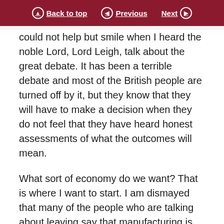Back to top | Previous | Next
could not help but smile when I heard the noble Lord, Lord Leigh, talk about the great debate. It has been a terrible debate and most of the British people are turned off by it, but they know that they will have to make a decision when they do not feel that they have heard honest assessments of what the outcomes will mean.
What sort of economy do we want? That is where I want to start. I am dismayed that many of the people who are talking about leaving say that manufacturing is not as important as it used to be, and they are satisfied with that. I want an economy that takes manufacturing seriously and goes back to understanding that what we are able to make is still very important. Yes, services are important and I am